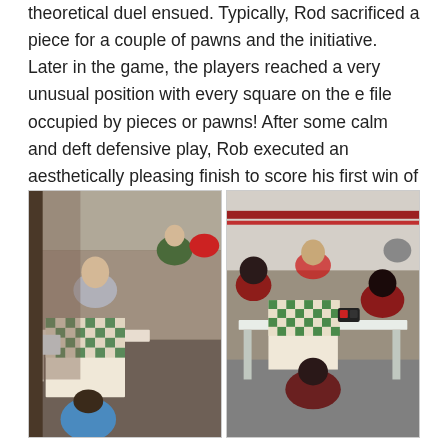Both players were well armed, and a tough, tense, theoretical duel ensued. Typically, Rod sacrificed a piece for a couple of pawns and the initiative. Later in the game, the players reached a very unusual position with every square on the e file occupied by pieces or pawns! After some calm and deft defensive play, Rob executed an aesthetically pleasing finish to score his first win of the tournament.
[Figure (photo): Two side-by-side photos of chess tournament play. Left photo shows two players at a chess board in a classroom/hall setting, with additional players visible in the background. Right photo shows young players at a chess board with chess clocks.]